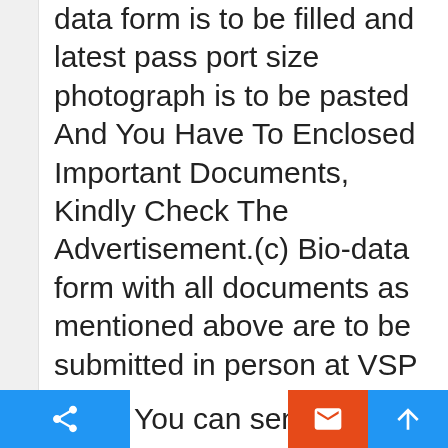data form is to be filled and latest pass port size photograph is to be pasted And You Have To Enclosed Important Documents, Kindly Check The Advertisement.(c) Bio-data form with all documents as mentioned above are to be submitted in person at VSP Counter, Govt. ITI(Old), Kancharapalem, Visakhapatnam on 14th, 15th and 16th February 2019 from 9.30 AM to 4.30 PM. Or You can send by post to th